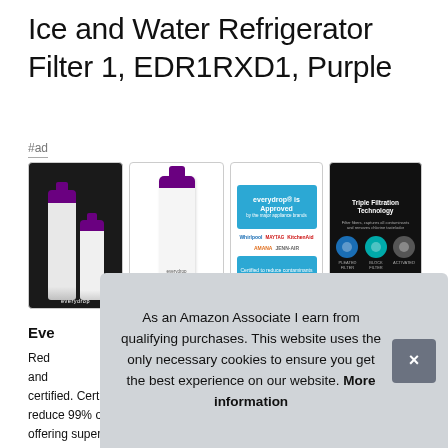Ice and Water Refrigerator Filter 1, EDR1RXD1, Purple
#ad
[Figure (photo): Four product images showing the EveryDrop refrigerator water filter: product packaging, single bottle, approval certification badge, and triple filtration technology diagram]
Eve...
Red... and... certified. Certified to reduce 99% of lead, offering superior
As an Amazon Associate I earn from qualifying purchases. This website uses the only necessary cookies to ensure you get the best experience on our website. More information